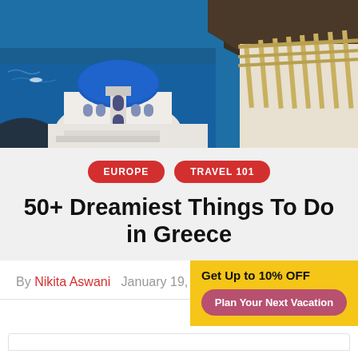[Figure (photo): Aerial/close-up photo of Santorini, Greece, showing iconic white-washed buildings with blue domed church in foreground, deep blue Aegean sea, and terraced structures with wooden pergolas on the right side.]
EUROPE
TRAVEL 101
50+ Dreamiest Things To Do in Greece
By Nikita Aswani   January 19, 20
Get Up to 10% OFF
Plan Your Next Vacation